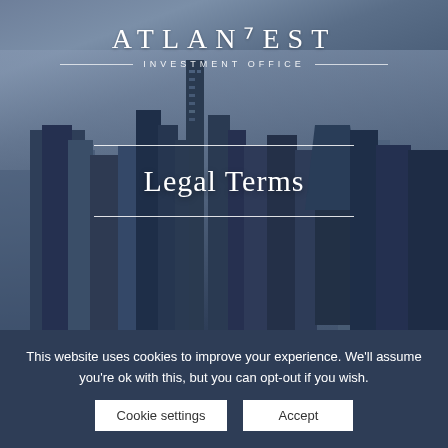[Figure (illustration): City skyline background with blue-grey atmospheric overlay showing tall skyscrapers against cloudy sky]
ATLANTVEST
INVESTMENT OFFICE
Legal Terms
This website uses cookies to improve your experience. We'll assume you're ok with this, but you can opt-out if you wish.
Cookie settings | Accept